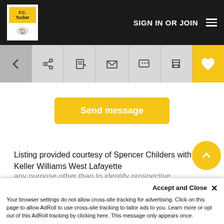F.C. Tucker - SIGN IN OR JOIN
[Figure (screenshot): Toolbar with back arrow, share, edit, email, chat, print icons, and active yellow heart/favorite button]
Send message
Listing provided courtesy of Spencer Childers with Keller Williams West Lafayette
The data relating to real estate for sale on this web site comes in part from the Internet Data Exchange Program. Real estate listings held by IDX Brokerage firms other than F.C. Tucker Company include the name of the listing IDX broker. This information is provided exclusively for personal, non-commercial use and may not be used for any purpose other than to identify prospective
Accept and Close ✕
Your browser settings do not allow cross-site tracking for advertising. Click on this page to allow AdRoll to use cross-site tracking to tailor ads to you. Learn more or opt out of this AdRoll tracking by clicking here. This message only appears once.